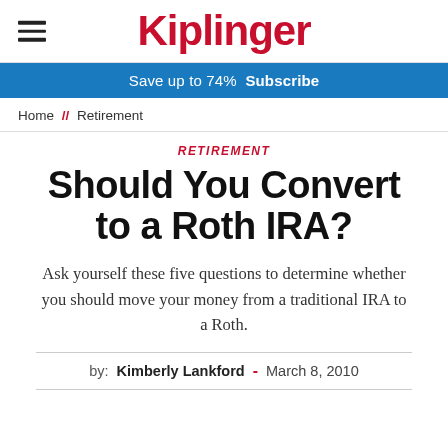Kiplinger
Save up to 74%  Subscribe
Home // Retirement
RETIREMENT
Should You Convert to a Roth IRA?
Ask yourself these five questions to determine whether you should move your money from a traditional IRA to a Roth.
by: Kimberly Lankford  -  March 8, 2010